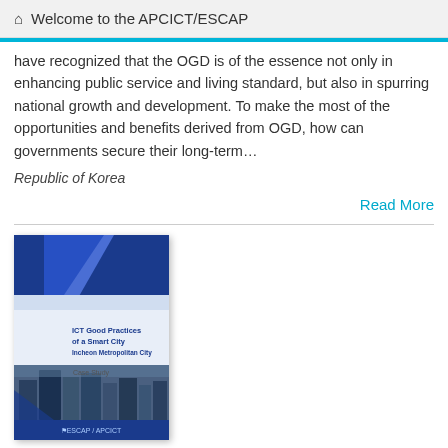Welcome to the APCICT/ESCAP
have recognized that the OGD is of the essence not only in enhancing public service and living standard, but also in spurring national growth and development. To make the most of the opportunities and benefits derived from OGD, how can governments secure their long-term…
Republic of Korea
Read More
[Figure (photo): Book cover of 'ICT Good Practices of a Smart City Incheon Metropolitan City — Case Study' published by ESCAP/APCICT, featuring blue geometric shapes and a cityscape photo]
Case Study on "ICT Good practices of